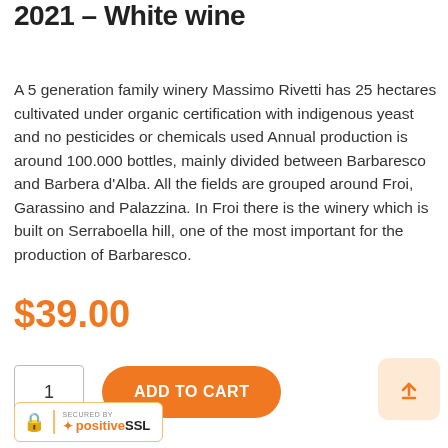2021 – White wine
A 5 generation family winery Massimo Rivetti has 25 hectares cultivated under organic certification with indigenous yeast and no pesticides or chemicals used Annual production is around 100.000 bottles, mainly divided between Barbaresco and Barbera d'Alba. All the fields are grouped around Froi, Garassino and Palazzina. In Froi there is the winery which is built on Serraboella hill, one of the most important for the production of Barbaresco.
$39.00
1
ADD TO CART
[Figure (logo): Secured by PositiveSSL badge with padlock icon and orange star]
[Figure (other): Orange upload/scroll-to-top button with upward arrow icon]